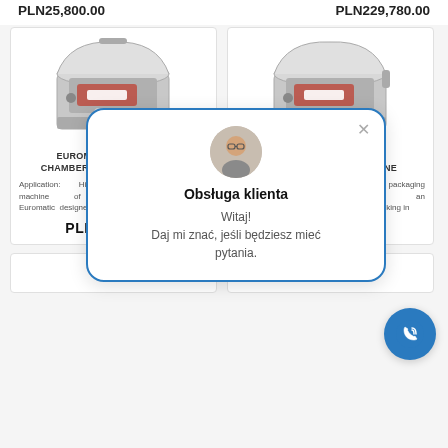PLN25,800.00   PLN229,780.00
[Figure (photo): Euromatic mixer dual chamber vacuum packing machine - product photo]
[Figure (photo): Chamber vacuum packing machine - product photo]
EUROMATIC MIXER DU... CHAMBER VACUUM PACKING...
...BER VACUUM PACKING MACHINE
Application: High-class chamber packaging machine of the Italian brand Euromatic designed for packing in
Application: High-class chamber packaging machine of the Italian brand Euromatic designed for packing in
PLN21,200.00
PLN18,200.00
[Figure (screenshot): Customer service chat popup with avatar, title 'Obsługa klienta', message 'Witaj! Daj mi znać, jeśli będziesz mieć pytania.']
[Figure (illustration): Phone/call floating action button]